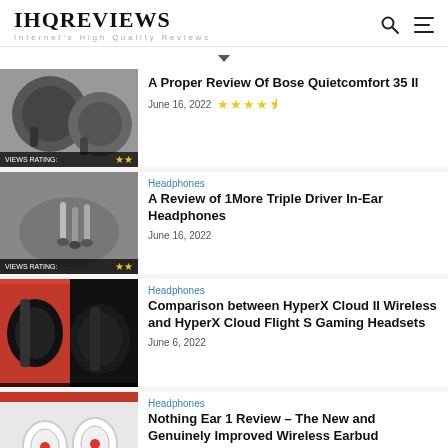IHQREVIEWS — Internet's High Quality Reviews
A Proper Review Of Bose Quietcomfort 35 II — June 16, 2022 — Rating: 4.5 stars
Headphones — A Review of 1More Triple Driver In-Ear Headphones — June 16, 2022
Headphones — Comparison between HyperX Cloud II Wireless and HyperX Cloud Flight S Gaming Headsets — June 6, 2022
Headphones — Nothing Ear 1 Review – The New and Genuinely Improved Wireless Earbud